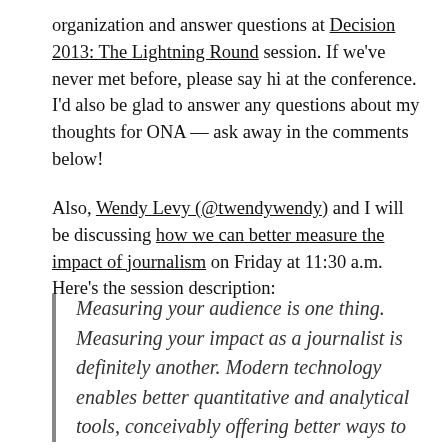organization and answer questions at Decision 2013: The Lightning Round session. If we've never met before, please say hi at the conference. I'd also be glad to answer any questions about my thoughts for ONA — ask away in the comments below!
Also, Wendy Levy (@twendywendy) and I will be discussing how we can better measure the impact of journalism on Friday at 11:30 a.m. Here's the session description:
Measuring your audience is one thing. Measuring your impact as a journalist is definitely another. Modern technology enables better quantitative and analytical tools, conceivably offering better ways to evaluate the results of journalism. But it's